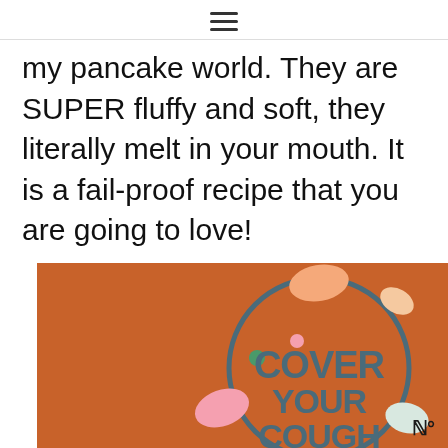≡ (hamburger menu icon)
my pancake world. They are SUPER fluffy and soft, they literally melt in your mouth. It is a fail-proof recipe that you are going to love!
[Figure (illustration): Advertisement showing a circular illustration with text 'COVER YOUR COUGH' on an orange background with colorful decorative shapes]
[Figure (infographic): Bottom banner ad with yellow background: 'It's okay to question. Now get the facts on COVID-19 vaccines GetVaccineAnswers.org']